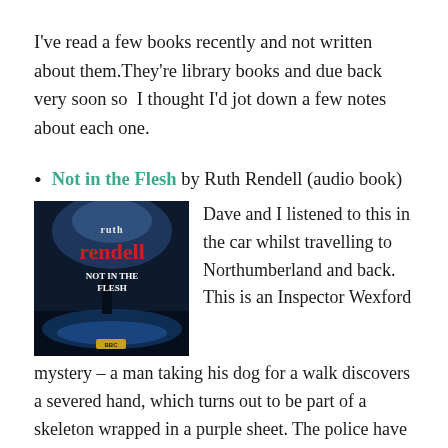I've read a few books recently and not written about them.They're library books and due back very soon so  I thought I'd jot down a few notes about each one.
Not in the Flesh by Ruth Rendell (audio book) — Dave and I listened to this in the car whilst travelling to Northumberland and back. This is an Inspector Wexford mystery – a man taking his dog for a walk discovers a severed hand, which turns out to be part of a skeleton wrapped in a purple sheet. The police have to discover the identity of the victim – and of the body of a second